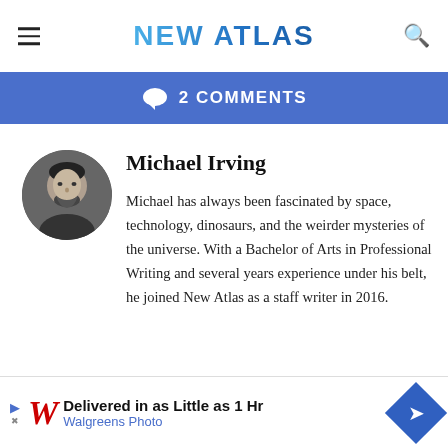NEW ATLAS
2 COMMENTS
Michael Irving
Michael has always been fascinated by space, technology, dinosaurs, and the weirder mysteries of the universe. With a Bachelor of Arts in Professional Writing and several years experience under his belt, he joined New Atlas as a staff writer in 2016.
MOST VIEWED
Delivered in as Little as 1 Hr Walgreens Photo